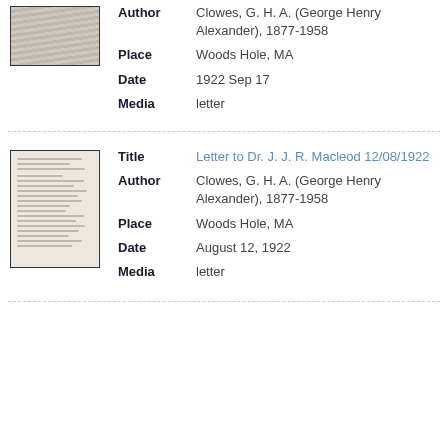Author: Clowes, G. H. A. (George Henry Alexander), 1877-1958
Place: Woods Hole, MA
Date: 1922 Sep 17
Media: letter
[Figure (photo): Thumbnail image of a typed letter document]
Title: Letter to Dr. J. J. R. Macleod 12/08/1922
Author: Clowes, G. H. A. (George Henry Alexander), 1877-1958
Place: Woods Hole, MA
Date: August 12, 1922
Media: letter